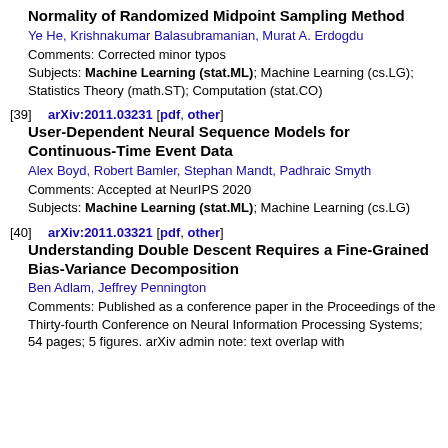Normality of Randomized Midpoint Sampling Method
Ye He, Krishnakumar Balasubramanian, Murat A. Erdogdu
Comments: Corrected minor typos
Subjects: Machine Learning (stat.ML); Machine Learning (cs.LG); Statistics Theory (math.ST); Computation (stat.CO)
[39] arXiv:2011.03231 [pdf, other]
User-Dependent Neural Sequence Models for Continuous-Time Event Data
Alex Boyd, Robert Bamler, Stephan Mandt, Padhraic Smyth
Comments: Accepted at NeurIPS 2020
Subjects: Machine Learning (stat.ML); Machine Learning (cs.LG)
[40] arXiv:2011.03321 [pdf, other]
Understanding Double Descent Requires a Fine-Grained Bias-Variance Decomposition
Ben Adlam, Jeffrey Pennington
Comments: Published as a conference paper in the Proceedings of the Thirty-fourth Conference on Neural Information Processing Systems; 54 pages; 5 figures. arXiv admin note: text overlap with